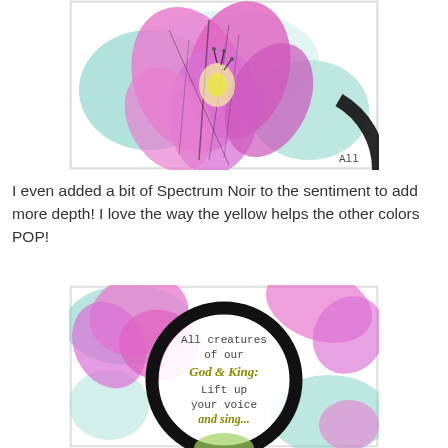[Figure (photo): Close-up photo of a pink flower illustration with teal accents, stamped or drawn with comic-style black outlines. Partial text 'All' visible in bottom right corner.]
I even added a bit of Spectrum Noir to the sentiment to add more depth! I love the way the yellow helps the other colors POP!
[Figure (photo): Photo of a round card or tag with a black circle border, featuring pink flower illustration with teal accents. Inside the circle is text reading: 'All creatures of our God & King: Lift up your voice and sing...']